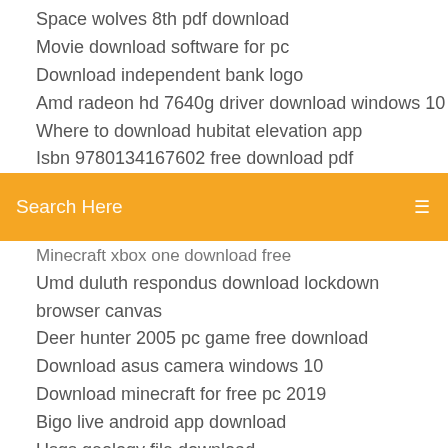Space wolves 8th pdf download
Movie download software for pc
Download independent bank logo
Amd radeon hd 7640g driver download windows 10
Where to download hubitat elevation app
Isbn 9780134167602 free download pdf
[Figure (screenshot): Orange search bar with 'Search Here' placeholder text and a menu icon on the right]
Minecraft xbox one download free
Umd duluth respondus download lockdown browser canvas
Deer hunter 2005 pc game free download
Download asus camera windows 10
Download minecraft for free pc 2019
Bigo live android app download
Usgs geology file download
Is it safe to download jpeg files
Starfleet command empires at war pc download
Download war thunder custom skins